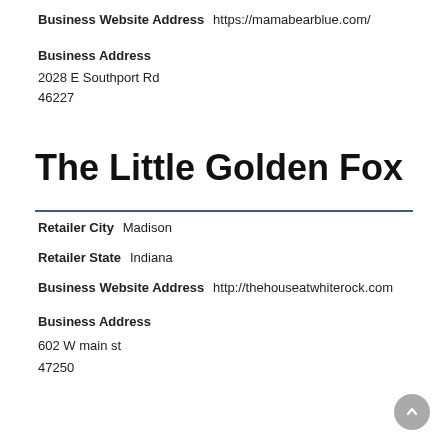Business Website Address  https://mamabearblue.com/
Business Address
2028 E Southport Rd
46227
The Little Golden Fox
Retailer City  Madison
Retailer State  Indiana
Business Website Address  http://thehouseatwhiterock.com
Business Address
602 W main st
47250